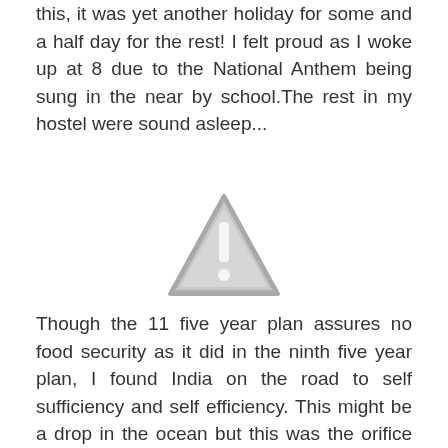this, it was yet another holiday for some and a half day for the rest! I felt proud as I woke up at 8 due to the National Anthem being sung in the near by school.The rest in my hostel were sound asleep...
[Figure (illustration): A warning triangle icon with an exclamation mark, rendered in gray.]
Though the 11 five year plan assures no food security as it did in the ninth five year plan, I found India on the road to self sufficiency and self efficiency. This might be a drop in the ocean but this was the orifice of a new self help protocol.